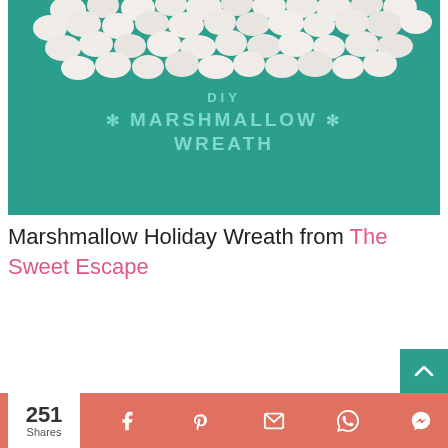[Figure (photo): DIY Marshmallow Wreath promotional image on a teal background with white marshmallows arranged in a wreath shape at the top, and teal text reading 'DIY * MARSHMALLOW * WREATH' overlaid on the teal background.]
Marshmallow Holiday Wreath from The Sweet Escape
251 Shares | Facebook | Pinterest | Email | WhatsApp | Messenger